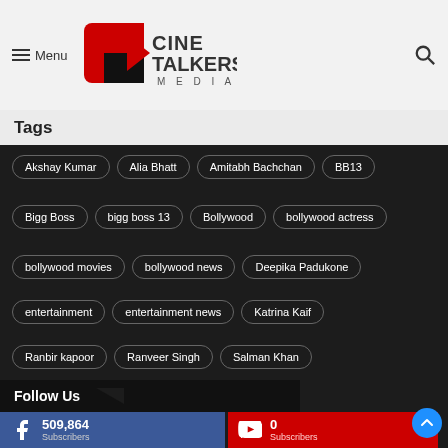Menu | CineTalkers Media logo
Tags
Akshay Kumar
Alia Bhatt
Amitabh Bachchan
BB13
Bigg Boss
bigg boss 13
Bollywood
bollywood actress
bollywood movies
bollywood news
Deepika Padukone
entertainment
entertainment news
Katrina Kaif
Ranbir kapoor
Ranveer Singh
Salman Khan
Shah Rukh Khan
Follow Us
509,864
0